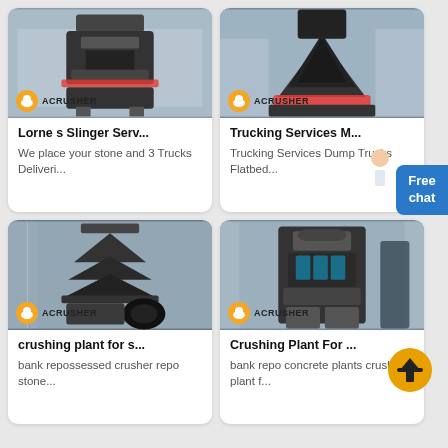[Figure (photo): Industrial crusher machine in factory - Acrusher brand, card 1 top-left]
Lorne s Slinger Serv...
We place your stone and 3 Trucks Deliveri...
[Figure (photo): Large cone crusher machine in factory - Acrusher brand, card 2 top-right]
Trucking Services M...
Trucking Services Dump Trucks Flatbed...
[Figure (photo): Large vertical crusher machine in factory - Acrusher brand, card 3 bottom-left]
crushing plant for s...
bank repossessed crusher repo stone...
[Figure (photo): Industrial crushing plant machine - Acrusher brand, card 4 bottom-right]
Crushing Plant For ...
bank repo concrete plants crushing plant f...